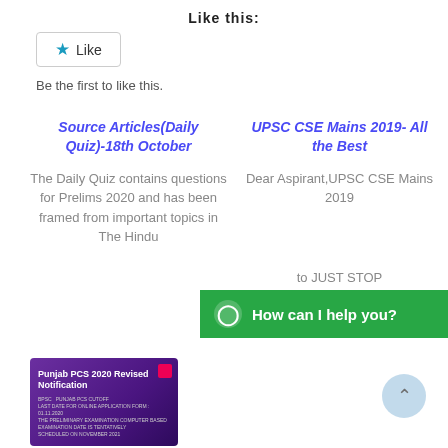Like this:
Like
Be the first to like this.
Source Articles(Daily Quiz)-18th October
The Daily Quiz contains questions for Prelims 2020 and has been framed from important topics in The Hindu
UPSC CSE Mains 2019- All the Best
Dear Aspirant,UPSC CSE Mains 2019
to JUST STOP
How can I help you?
[Figure (photo): Punjab PCS 2020 Revised Notification document thumbnail with purple gradient background]
Punjab PCS Syllabus